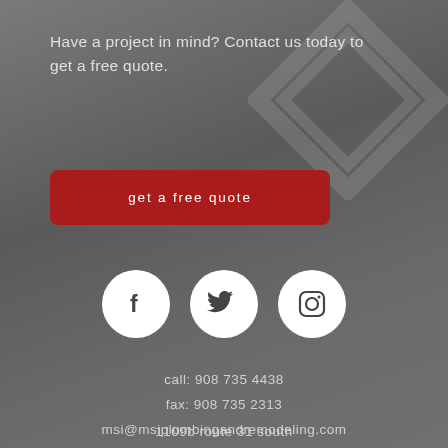Have a project in mind? Contact us today to get a free quote.
get a free quote
[Figure (illustration): Three white circular social media icons: Facebook (f), Twitter (bird), Instagram (camera outline), centered horizontally on grey background]
call: 908 735 4438
fax: 908 735 2313
msi@msiplumbingandremodeling.com
1109b route 31 south
lebanon, new jersey 08833